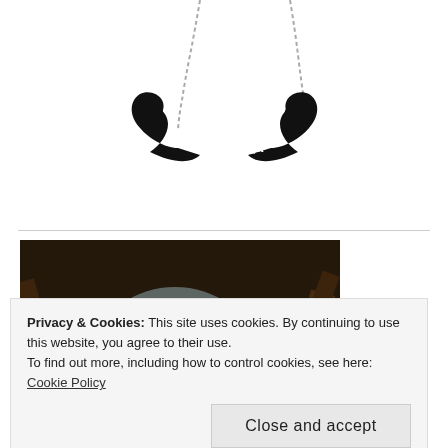[Figure (photo): A black mustache-shaped necklace pendant on a silver chain, with the text 'J.D. Hager' engraved in white on the black mustache shape, photographed on a white background.]
[Figure (photo): A dark atmospheric photo showing a grey stone with the word 'Guilty' written in Gothic script, surrounded by old wooden objects and tools in low light.]
Privacy & Cookies: This site uses cookies. By continuing to use this website, you agree to their use.
To find out more, including how to control cookies, see here: Cookie Policy
Close and accept